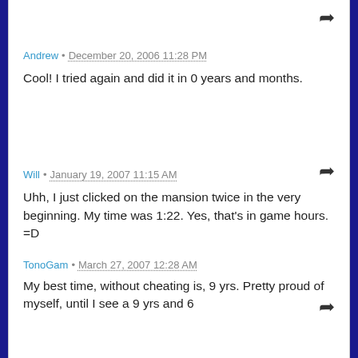Andrew • December 20, 2006 11:28 PM
Cool! I tried again and did it in 0 years and months.
Will • January 19, 2007 11:15 AM
Uhh, I just clicked on the mansion twice in the very beginning. My time was 1:22. Yes, that's in game hours. =D
TonoGam • March 27, 2007 12:28 AM
My best time, without cheating is, 9 yrs. Pretty proud of myself, until I see a 9 yrs and 6...